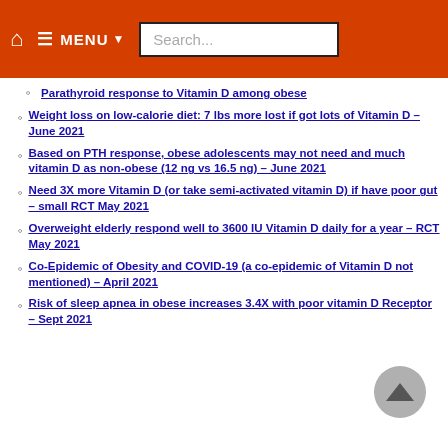MENU Search...
Parathyroid response to Vitamin D among obese
Weight loss on low-calorie diet: 7 lbs more lost if got lots of Vitamin D – June 2021
Based on PTH response, obese adolescents may not need and much vitamin D as non-obese (12 ng vs 16.5 ng) – June 2021
Need 3X more Vitamin D (or take semi-activated vitamin D) if have poor gut – small RCT May 2021
Overweight elderly respond well to 3600 IU Vitamin D daily for a year – RCT May 2021
Co-Epidemic of Obesity and COVID-19 (a co-epidemic of Vitamin D not mentioned) – April 2021
Risk of sleep apnea in obese increases 3.4X with poor vitamin D Receptor – Sept 2021